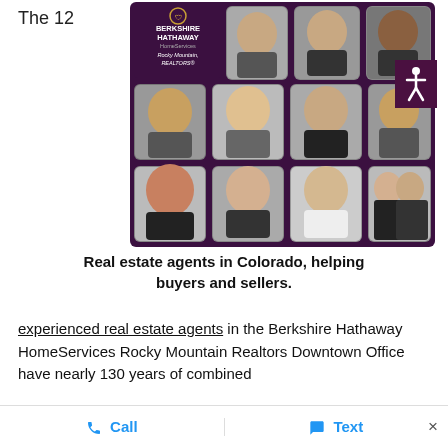The 12
[Figure (photo): Berkshire Hathaway HomeServices Rocky Mountain, REALTORS – collage of 11 real estate agent headshots arranged in a 4×3 grid on a dark purple background, with the company logo and name in the top left]
Real estate agents in Colorado, helping buyers and sellers.
experienced real estate agents in the Berkshire Hathaway HomeServices Rocky Mountain Realtors Downtown Office have nearly 130 years of combined
Call   Text